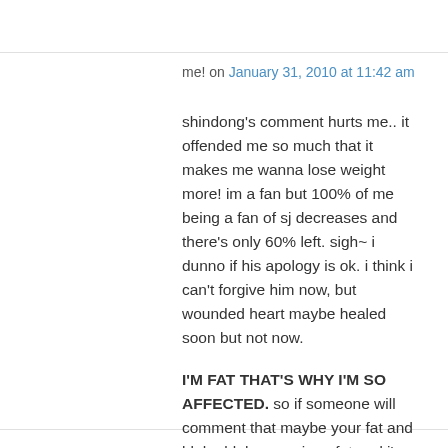me! on January 31, 2010 at 11:42 am
shindong's comment hurts me.. it offended me so much that it makes me wanna lose weight more! im a fan but 100% of me being a fan of sj decreases and there's only 60% left. sigh~ i dunno if his apology is ok. i think i can't forgive him now, but wounded heart maybe healed soon but not now.
I'M FAT THAT'S WHY I'M SO AFFECTED. so if someone will comment that maybe your fat and blahg blah… yes i am fat and i'm not embarrassed by it.^^